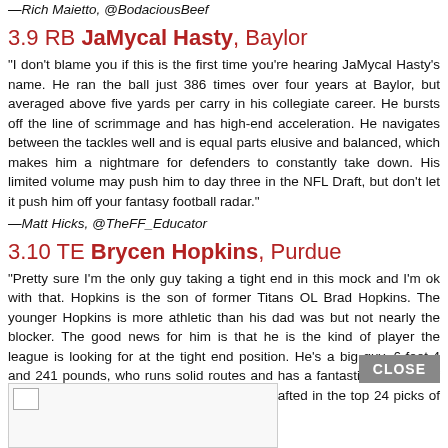—Rich Maietto, @BodaciousBeef
3.9 RB JaMycal Hasty, Baylor
“I don’t blame you if this is the first time you’re hearing JaMycal Hasty’s name. He ran the ball just 386 times over four years at Baylor, but averaged above five yards per carry in his collegiate career. He bursts off the line of scrimmage and has high-end acceleration. He navigates between the tackles well and is equal parts elusive and balanced, which makes him a nightmare for defenders to constantly take down. His limited volume may push him to day three in the NFL Draft, but don’t let it push him off your fantasy football radar.”
—Matt Hicks, @TheFF_Educator
3.10 TE Brycen Hopkins, Purdue
“Pretty sure I’m the only guy taking a tight end in this mock and I’m ok with that. Hopkins is the son of former Titans OL Brad Hopkins. The younger Hopkins is more athletic than his dad was but not nearly the blocker. The good news for him is that he is the kind of player the league is looking for at the tight end position. He’s a big guy, 6-foot-4 and 241 pounds, who runs solid routes and has a fantastic pedigree. If he tests well at the Combine, he could be drafted in the top 24 picks of rookie drafts.”
—Jeff DeMatteo, @NFL_DiMatteo
[Figure (photo): Image placeholder box in bottom left corner]